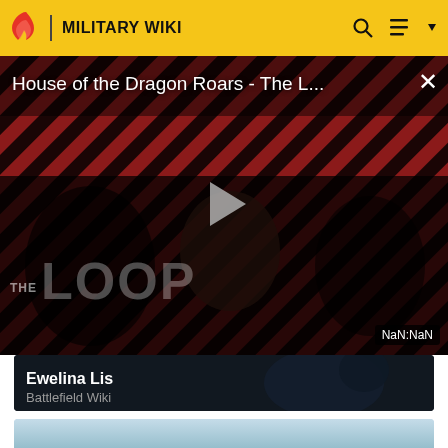MILITARY WIKI
[Figure (screenshot): Video player showing 'House of the Dragon Roars - The L...' with diagonal red and dark stripe pattern background, play button in center, 'THE LOOP' text overlay, and NaN:NaN duration badge]
House of the Dragon Roars - The L...
NaN:NaN
Ewelina Lis
Battlefield Wiki
[Figure (photo): Bottom portion of a card with light blue sky background]